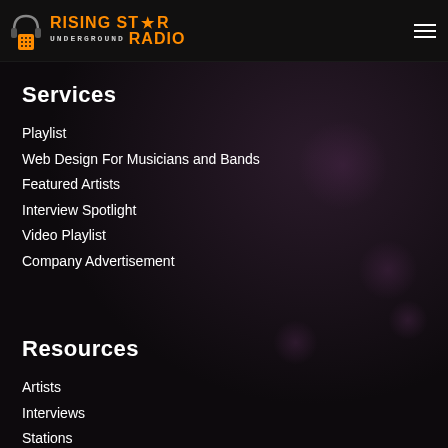Rising Star Underground Radio
Services
Playlist
Web Design For Musicians and Bands
Featured Artists
Interview Spotlight
Video Playlist
Company Advertisement
Resources
Artists
Interviews
Stations